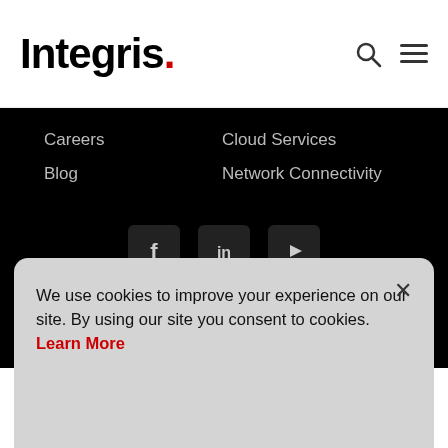Integris.
Careers
Blog
Cloud Services
Network Connectivity
[Figure (other): Social media icons: Facebook, LinkedIn, YouTube]
Terms & Conditions   Privacy Policy   © 2022 Integris
We use cookies to improve your experience on our site. By using our site you consent to cookies. Learn More